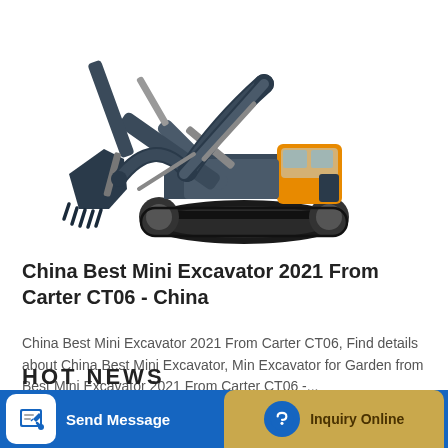[Figure (photo): Hyundai large crawler excavator with extended boom and bucket, gray/black body with orange cab accents, on white background]
China Best Mini Excavator 2021 From Carter CT06 - China
China Best Mini Excavator 2021 From Carter CT06, Find details about China Best Mini Excavator, Min Excavator for Garden from Best Mini Excavator 2021 From Carter CT06 -...
Learn More
Send Message
Inquiry Online
HOT NEWS